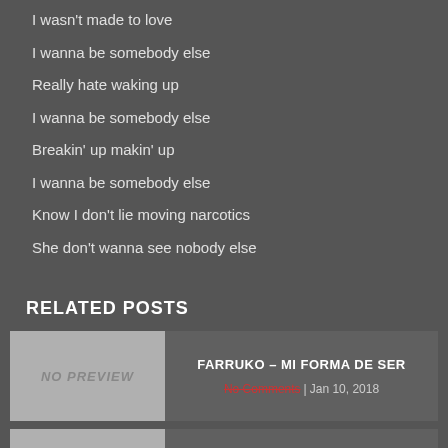I wasn't made to love
I wanna be somebody else
Really hate waking up
I wanna be somebody else
Breakin' up makin' up
I wanna be somebody else
Know I don't lie moving narcotics
She don't wanna see nobody else
RELATED POSTS
FARRUKO – MI FORMA DE SER
No Comments | Jan 10, 2018
THE CHAINSMOKERS – SOMEBODY LYRICS
No Comments | Apr 19, 2018